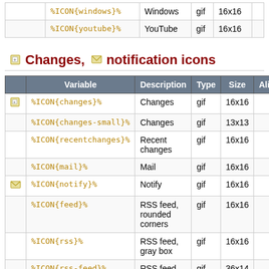|  | Variable | Description | Type | Size | Alias |
| --- | --- | --- | --- | --- | --- |
|  | %ICON{windows}% | Windows | gif | 16x16 |  |
|  | %ICON{youtube}% | YouTube | gif | 16x16 |  |
Changes, notification icons
|  | Variable | Description | Type | Size | Alias |
| --- | --- | --- | --- | --- | --- |
| [icon] | %ICON{changes}% | Changes | gif | 16x16 |  |
|  | %ICON{changes-small}% | Changes | gif | 13x13 |  |
|  | %ICON{recentchanges}% | Recent changes | gif | 16x16 |  |
|  | %ICON{mail}% | Mail | gif | 16x16 |  |
| [icon] | %ICON{notify}% | Notify | gif | 16x16 |  |
|  | %ICON{feed}% | RSS feed, rounded corners | gif | 16x16 |  |
|  | %ICON{rss}% | RSS feed, gray box | gif | 16x16 |  |
|  | %ICON{rss-feed}% | RSS feed | gif | 36x14 |  |